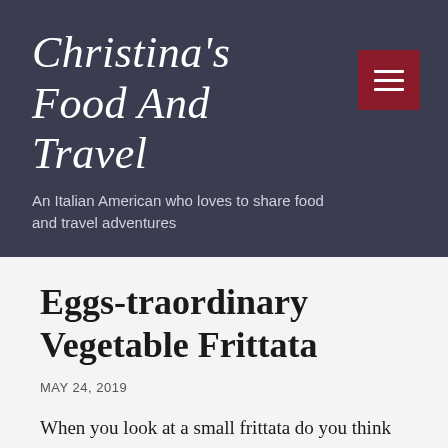Christina's Food And Travel
An Italian American who loves to share food and travel adventures
Eggs-traordinary Vegetable Frittata
MAY 24, 2019
When you look at a small frittata do you think of it as an open-face omelette? Well, maybe that's just me, and it does depend on how thick the frittata is. Some frittatas I make can be a deep-dish variety (two inches thick), so they are more pie or quiche-like.